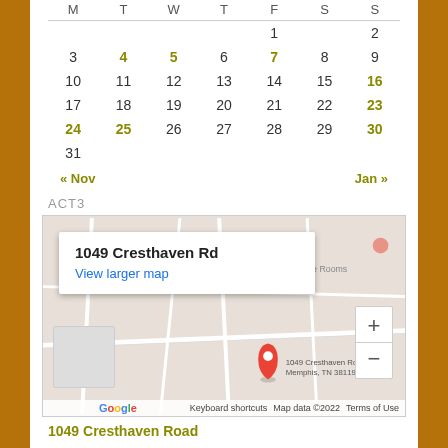| M | T | W | T | F | S | S |
| --- | --- | --- | --- | --- | --- | --- |
|  |  |  |  | 1 |  | 2 |
| 3 | 4 | 5 | 6 | 7 | 8 | 9 |
| 10 | 11 | 12 | 13 | 14 | 15 | 16 |
| 17 | 18 | 19 | 20 | 21 | 22 | 23 |
| 24 | 25 | 26 | 27 | 28 | 29 | 30 |
| 31 |  |  |  |  |  |  |
« Nov    Jan »
ACT3
[Figure (map): Google Map showing 1049 Cresthaven Rd, Memphis, TN 38119 with a location pin and popup tooltip]
1049 Cresthaven Road